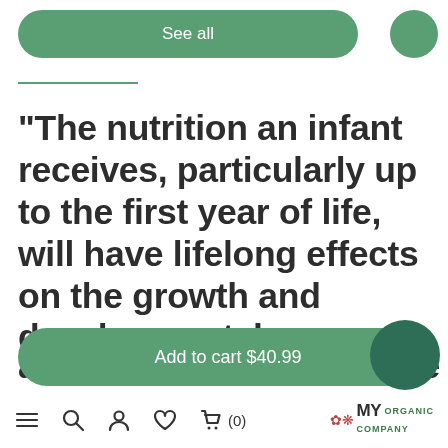[Figure (screenshot): Green rounded button labeled 'See all']
“The nutrition an infant receives, particularly up to the first year of life, will have lifelong effects on the growth and developmental as susceptibility to future
[Figure (screenshot): Green 'Add to cart $40.99' button overlay on bottom of page]
Navigation bar with menu, search, account, wishlist, cart (0) icons and MY ORGANIC COMPANY logo